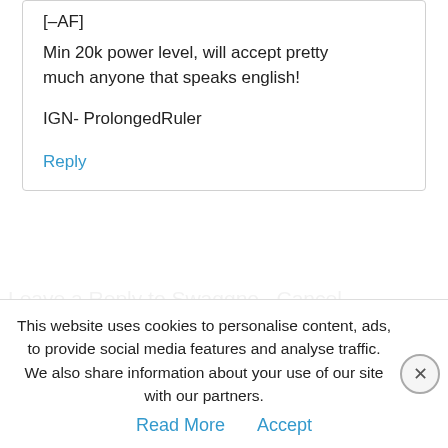[–AF]
Min 20k power level, will accept pretty much anyone that speaks english!
IGN- ProlongedRuler
Reply
Leave a Reply to Swaggno   Cancel
This website uses cookies to personalise content, ads, to provide social media features and analyse traffic. We also share information about your use of our site with our partners.
Read More   Accept